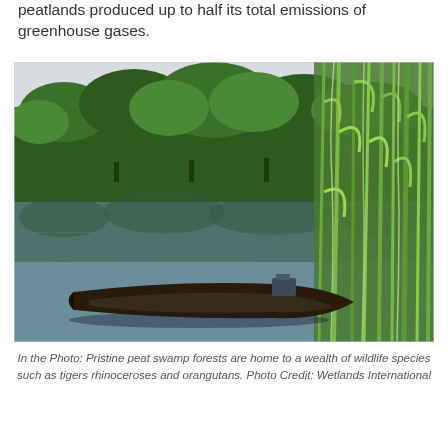peatlands produced up to half its total emissions of greenhouse gases.
[Figure (photo): A pristine peat swamp forest scene with a wooden canoe in the foreground on calm reflective water, dense tropical forest in the background, and tall reeds/grasses on the right side.]
In the Photo: Pristine peat swamp forests are home to a wealth of wildlife species such as tigers rhinoceroses and orangutans. Photo Credit: Wetlands International